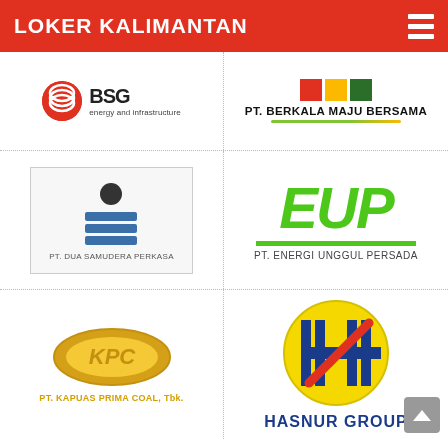LOKER KALIMANTAN
[Figure (logo): BSG energy and infrastructure logo]
[Figure (logo): PT. Berkala Maju Bersama logo with colored squares and green-yellow underline]
[Figure (logo): PT. Dua Samudera Perkasa logo with person/wave icon]
[Figure (logo): EUP - PT. Energi Unggul Persada logo in green italic letters]
[Figure (logo): KPC - PT. Kapuas Prima Coal, Tbk. logo with oval emblem in gold]
[Figure (logo): Hasnur Group logo with yellow circle H emblem in blue and red]